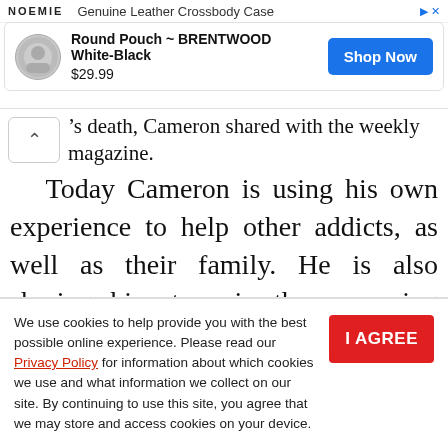NOEMIE   Genuine Leather Crossbody Case
[Figure (screenshot): Advertisement banner showing Round Pouch BRENTWOOD White-Black handbag product with thumbnail image, price $29.99, and a blue 'Shop Now' button]
s death, Cameron shared with the weekly magazine.
Today Cameron is using his own experience to help other addicts, as well as their family. He is also sharing his story in the upcoming memoir, Long Way Home, which he hopes can help even
We use cookies to help provide you with the best possible online experience. Please read our Privacy Policy for information about which cookies we use and what information we collect on our site. By continuing to use this site, you agree that we may store and access cookies on your device.